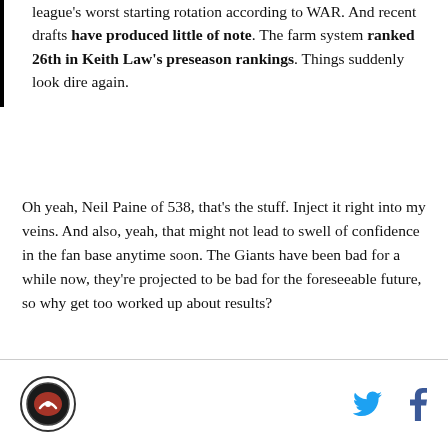league's worst starting rotation according to WAR. And recent drafts have produced little of note. The farm system ranked 26th in Keith Law's preseason rankings. Things suddenly look dire again.
Oh yeah, Neil Paine of 538, that's the stuff. Inject it right into my veins. And also, yeah, that might not lead to swell of confidence in the fan base anytime soon. The Giants have been bad for a while now, they're projected to be bad for the foreseeable future, so why get too worked up about results?
Logo and social media icons (Twitter, Facebook)